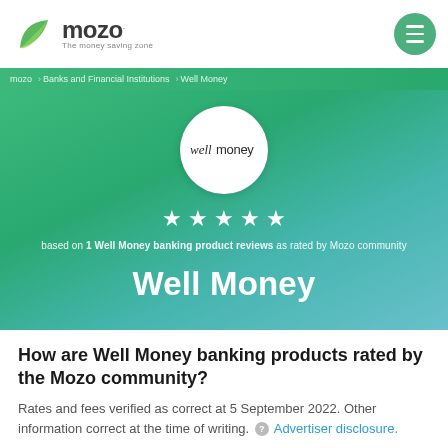mozo – The money saving zone
[Figure (logo): Well Money logo in white circle on green/teal gradient hero background with 5 stars and rating text]
Well Money
How are Well Money banking products rated by the Mozo community?
Rates and fees verified as correct at 5 September 2022. Other information correct at the time of writing. ? Advertiser disclosure.